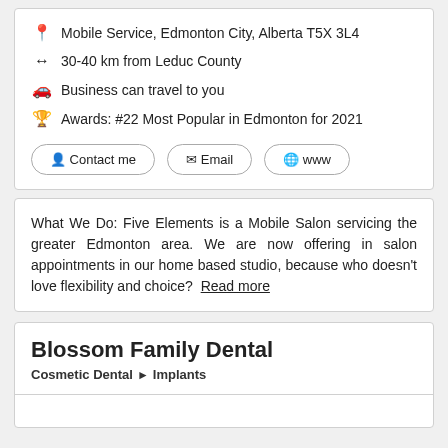Mobile Service, Edmonton City, Alberta T5X 3L4
30-40 km from Leduc County
Business can travel to you
Awards: #22 Most Popular in Edmonton for 2021
Contact me  Email  www
What We Do: Five Elements is a Mobile Salon servicing the greater Edmonton area. We are now offering in salon appointments in our home based studio, because who doesn't love flexibility and choice?  Read more
Blossom Family Dental
Cosmetic Dental > Implants